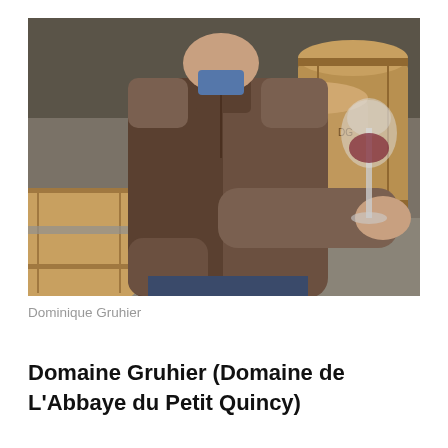[Figure (photo): A man wearing a brown zip-neck sweater holds a wine glass with red wine, standing in a wine cellar surrounded by oak barrels stacked against a stone wall.]
Dominique Gruhier
Domaine Gruhier (Domaine de L'Abbaye du Petit Quincy)